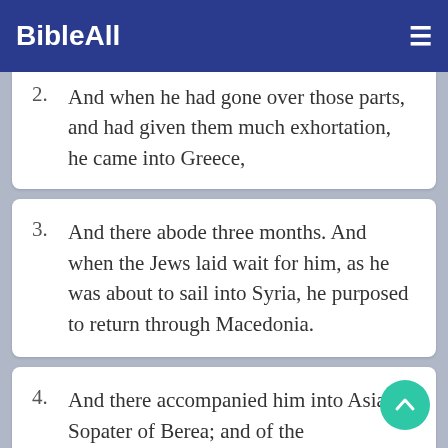BibleAll ≡
2. And when he had gone over those parts, and had given them much exhortation, he came into Greece,
3. And there abode three months. And when the Jews laid wait for him, as he was about to sail into Syria, he purposed to return through Macedonia.
4. And there accompanied him into Asia Sopater of Berea; and of the Thessalonians, Aristarchus and Secundus; and Gaius of Derbe, and Timotheus; and of Asia, Tychicus and Trophimus.